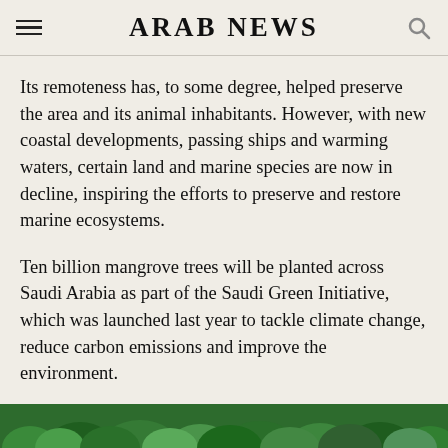ARAB NEWS
Its remoteness has, to some degree, helped preserve the area and its animal inhabitants. However, with new coastal developments, passing ships and warming waters, certain land and marine species are now in decline, inspiring the efforts to preserve and restore marine ecosystems.
Ten billion mangrove trees will be planted across Saudi Arabia as part of the Saudi Green Initiative, which was launched last year to tackle climate change, reduce carbon emissions and improve the environment.
[Figure (photo): Partial view of green foliage/mangrove trees visible at bottom of page]